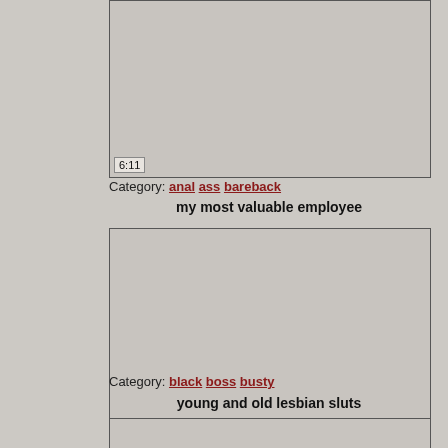[Figure (screenshot): Video thumbnail placeholder, gray rectangle with duration badge 6:11]
Category: anal ass bareback
my most valuable employee
[Figure (screenshot): Video thumbnail placeholder, gray rectangle with duration badge 4:58]
Category: black boss busty
young and old lesbian sluts
[Figure (screenshot): Video thumbnail placeholder, gray rectangle, partial view]